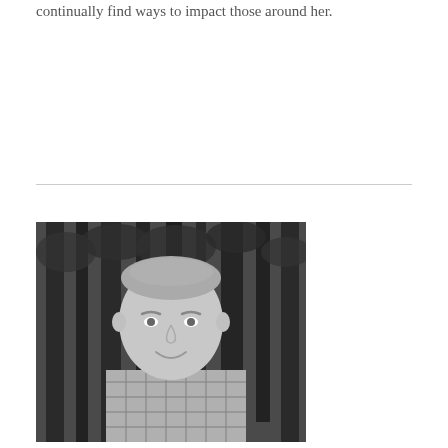continually find ways to impact those around her.
[Figure (photo): Black and white portrait photo of a smiling middle-aged man with short hair, wearing a plaid/gingham shirt, photographed outdoors in front of trees.]